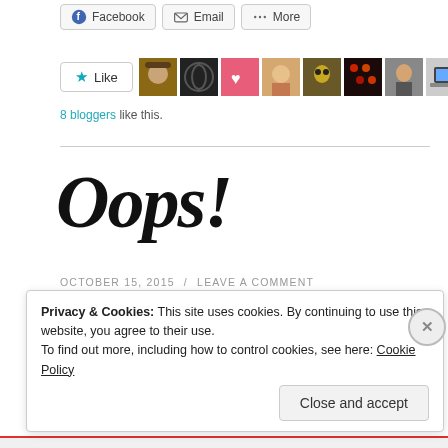[Figure (infographic): Share buttons row: Facebook, Email, More]
[Figure (infographic): Like button with star icon and 8 blogger avatar thumbnails]
8 bloggers like this.
Oops!
OCTOBER 15, 2015 / LEAVE A COMMENT
[Figure (photo): Partial image strip showing blurry colorful photo]
Privacy & Cookies: This site uses cookies. By continuing to use this website, you agree to their use.
To find out more, including how to control cookies, see here: Cookie Policy
Close and accept